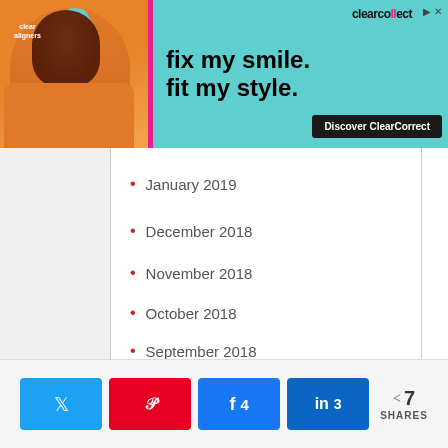[Figure (illustration): ClearCorrect advertisement banner: 'fix my smile. fit my style. Discover ClearCorrect' with a smiling young man and teal background]
January 2019
December 2018
November 2018
October 2018
September 2018
August 2018
July 2018
June 2018
May 2018